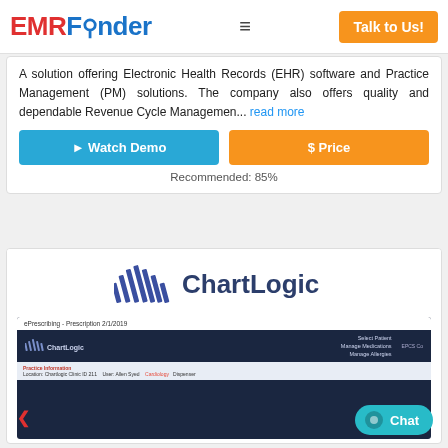EMRFinder | Talk to Us!
A solution offering Electronic Health Records (EHR) software and Practice Management (PM) solutions. The company also offers quality and dependable Revenue Cycle Managemen... read more
Watch Demo
$ Price
Recommended: 85%
[Figure (logo): ChartLogic logo with diagonal stripe marks]
[Figure (screenshot): ChartLogic ePrescribing software screenshot showing Prescription 2/1/2019 interface with patient management options]